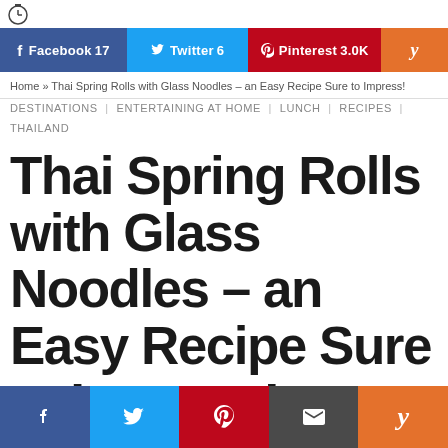f Facebook 17  Twitter 6  Pinterest 3.0K  y
Home » Thai Spring Rolls with Glass Noodles – an Easy Recipe Sure to Impress!
DESTINATIONS | ENTERTAINING AT HOME | LUNCH | RECIPES | THAILAND
Thai Spring Rolls with Glass Noodles – an Easy Recipe Sure to Impress!
f  Twitter  Pinterest  mail  y